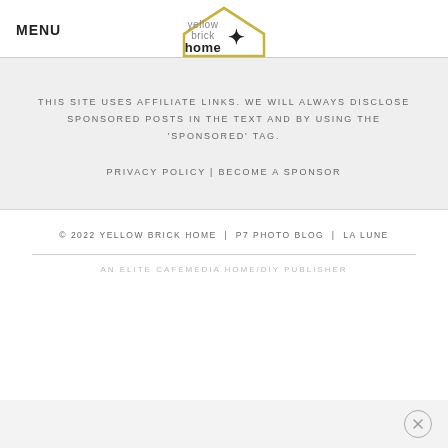MENU
[Figure (logo): Yellow Brick Home logo with house outline and star]
THIS SITE USES AFFILIATE LINKS. WE WILL ALWAYS DISCLOSE SPONSORED POSTS IN THE TEXT AND BY USING THE 'SPONSORED' TAG.
PRIVACY POLICY | BECOME A SPONSOR
© 2022 YELLOW BRICK HOME | P7 PHOTO BLOG | LA LUNE
AN ELITE CAFEMEDIA HOME/DIY PUBLISHER